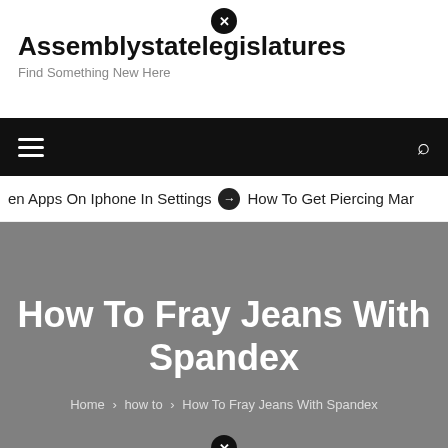Assemblystatelegislatures — Find Something New Here
en Apps On Iphone In Settings  ➤  How To Get Piercing Mar
How To Fray Jeans With Spandex
Home > how to > How To Fray Jeans With Spandex